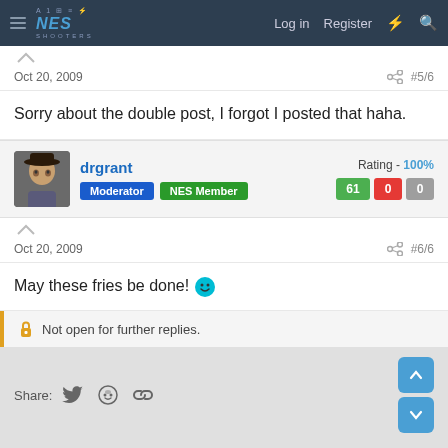NES SHOOTERS — Log in  Register
Oct 20, 2009   #5/6
Sorry about the double post, I forgot I posted that haha.
drgrant  Moderator  NES Member  Rating - 100%  61  0  0
Oct 20, 2009   #6/6
May these fries be done! 😁
Not open for further replies.
Share:   < LEO Bubbas